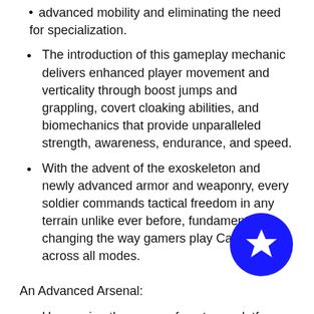advanced mobility and eliminating the need for specialization.
The introduction of this gameplay mechanic delivers enhanced player movement and verticality through boost jumps and grappling, covert cloaking abilities, and biomechanics that provide unparalleled strength, awareness, endurance, and speed.
With the advent of the exoskeleton and newly advanced armor and weaponry, every soldier commands tactical freedom in any terrain unlike ever before, fundamentally changing the way gamers play Call of Duty across all modes.
An Advanced Arsenal:
Harnessing the power of next-gen platforms, Call of Duty: Advanced Warfare brings players into the battlegrounds of the future by boasting a new hi-tech, advanced arsenal and ability set, arming players with all-new equipment, technology, perks, and vehicles like hoverbikes and highly